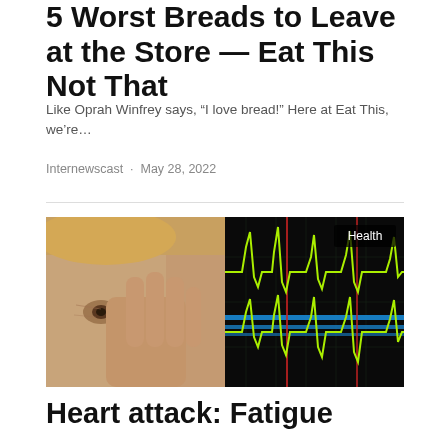5 Worst Breads to Leave at the Store — Eat This Not That
Like Oprah Winfrey says, “I love bread!” Here at Eat This, we’re…
Internewscast · May 28, 2022
[Figure (photo): Split image: left side shows an older woman pressing her hand to her face in pain or distress; right side shows a green ECG/heart monitor waveform on a dark background with blue and red lines. A 'Health' badge appears in the top right corner.]
Heart attack: Fatigue